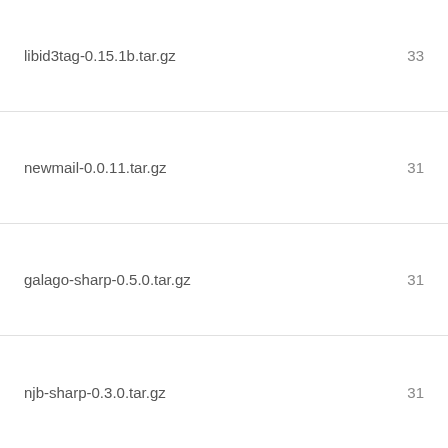libid3tag-0.15.1b.tar.gz   33
newmail-0.0.11.tar.gz   31
galago-sharp-0.5.0.tar.gz   31
njb-sharp-0.3.0.tar.gz   31